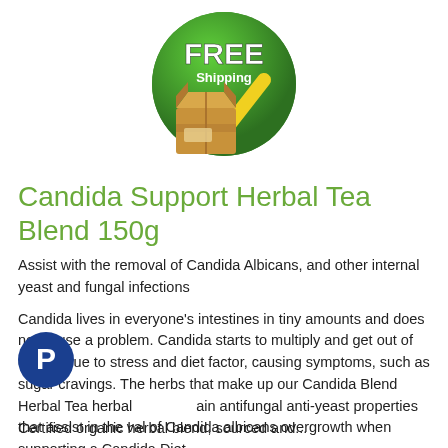[Figure (logo): Free Shipping badge: green circle with 'FREE Shipping' text in white/bold, a brown cardboard box, and a yellow checkmark]
Candida Support Herbal Tea Blend 150g
Assist with the removal of Candida Albicans, and other internal yeast and fungal infections
Candida lives in everyone's intestines in tiny amounts and does not cause a problem. Candida starts to multiply and get out of control due to stress and diet factor, causing symptoms, such as sugar cravings. The herbs that make up our Candida Blend Herbal Tea herbal contain antifungal anti-yeast properties that assist in the removal of Candida albicans overgrowth when supporting a Candida Diet.
[Figure (logo): PayPal circular blue icon with white 'P' letter]
Certified organic herbal blend, sourced and...